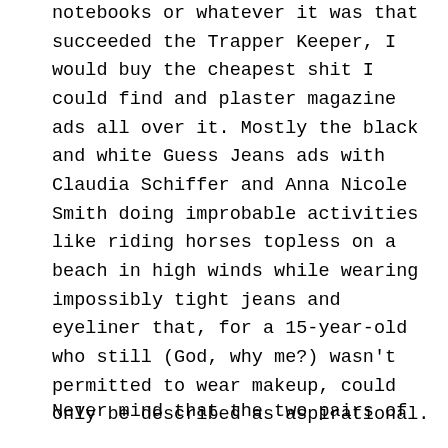notebooks or whatever it was that succeeded the Trapper Keeper, I would buy the cheapest shit I could find and plaster magazine ads all over it. Mostly the black and white Guess Jeans ads with Claudia Schiffer and Anna Nicole Smith doing improbable activities like riding horses topless on a beach in high winds while wearing impossibly tight jeans and eyeliner that, for a 15-year-old who still (God, why me?) wasn't permitted to wear makeup, could only be described as aspirational.
Never mind that the two pairs of